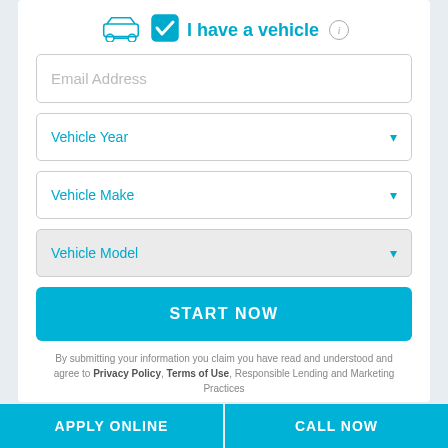[Figure (illustration): Car icon with checkbox and 'I have a vehicle' label with info icon]
Email Address
Vehicle Year
Vehicle Make
Vehicle Model
START NOW
By submitting your information you claim you have read and understood and agree to Privacy Policy, Terms of Use, Responsible Lending and Marketing Practices
[Figure (logo): Green star rating boxes (4.5 stars) and Trustpilot logo with green star]
APPLY ONLINE
CALL NOW